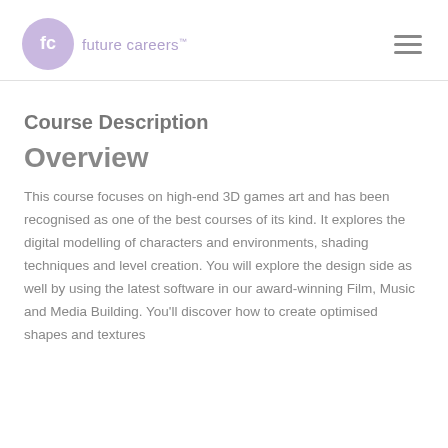future careers
Course Description
Overview
This course focuses on high-end 3D games art and has been recognised as one of the best courses of its kind. It explores the digital modelling of characters and environments, shading techniques and level creation. You will explore the design side as well by using the latest software in our award-winning Film, Music and Media Building. You'll discover how to create optimised shapes and textures